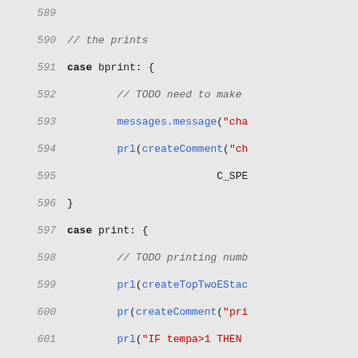[Figure (screenshot): Source code listing showing lines 589-621 of a program file. The code shows case statements (bprint, print, trap, default) in a switch block, plus boolean variable assignment and if statements. Line numbers appear on the left in gray italic, keywords are bold, string literals are red, function calls are blue.]